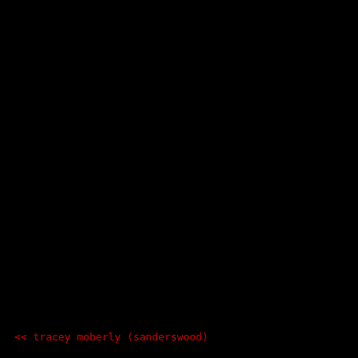<< tracey moberly (sanderswood)